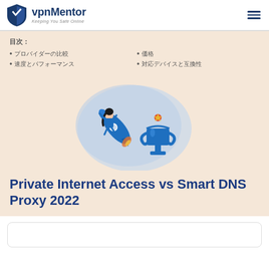vpnMentor — Keeping You Safe Online
目次:
プロバイダーの比較
価格
速度とパフォーマンス
対応デバイスと互換性
[Figure (illustration): Illustration of a woman in blue suit riding a rocket with a trophy cup, on a light blue blob background]
Private Internet Access vs Smart DNS Proxy 2022